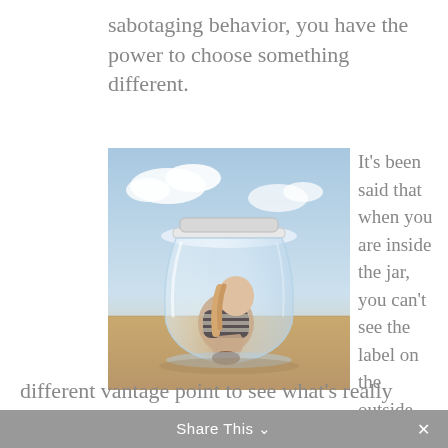sabotaging behavior, you have the power to choose something different.
[Figure (photo): A woman sitting curled up inside a large glass jar on a beach, with sky and clouds visible, surreal artistic photo.]
It’s been said that when you are inside the jar, you can’t see the label on the outside. Similarly, when you are inside your patterns, you may need a different vantage point to see what’s really happening with you.
Share This ∨  ×